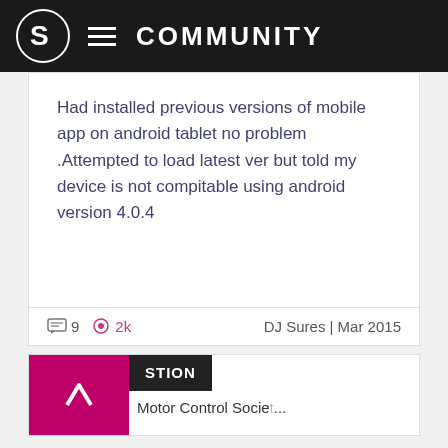COMMUNITY
Had installed previous versions of mobile app on android tablet no problem .Attempted to load latest ver but told my device is not compitable using android version 4.0.4
9  2k  DJ Sures | Mar 2015
STION  Motor Control Society...